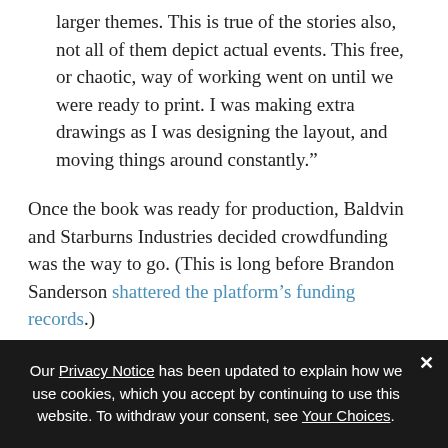larger themes. This is true of the stories also, not all of them depict actual events. This free, or chaotic, way of working went on until we were ready to print. I was making extra drawings as I was designing the layout, and moving things around constantly.”
Once the book was ready for production, Baldvin and Starburns Industries decided crowdfunding was the way to go. (This is long before Brandon Sanderson shattered the platform’s funding records.)
“I found Kickstarter to be an amazing experience, I designed and ran the campaign myself and I felt right away that the most fun and interesting
Our Privacy Notice has been updated to explain how we use cookies, which you accept by continuing to use this website. To withdraw your consent, see Your Choices.